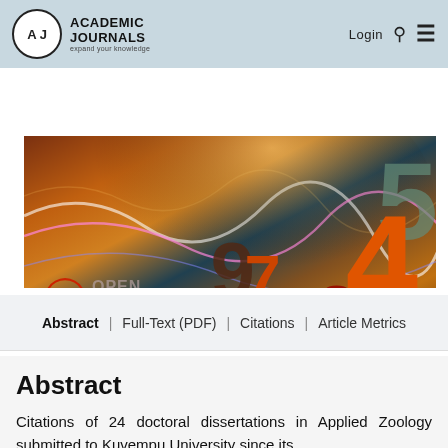Academic Journals — expand your knowledge | Login
[Figure (illustration): Colorful abstract banner image with mathematical numbers (5, 4, 9, 7, 8), wavy light streaks, open access lock symbol, and the text OPEN ACCESS overlaid on a vibrant multi-colored background.]
Abstract | Full-Text (PDF) | Citations | Article Metrics
Abstract
Citations of 24 doctoral dissertations in Applied Zoology submitted to Kuvempu University since its